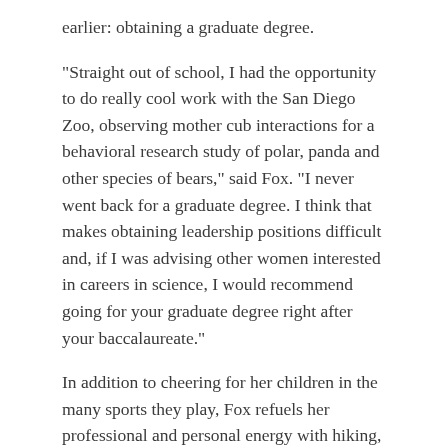earlier: obtaining a graduate degree.
“Straight out of school, I had the opportunity to do really cool work with the San Diego Zoo, observing mother cub interactions for a behavioral research study of polar, panda and other species of bears,” said Fox. “I never went back for a graduate degree. I think that makes obtaining leadership positions difficult and, if I was advising other women interested in careers in science, I would recommend going for your graduate degree right after your baccalaureate.”
In addition to cheering for her children in the many sports they play, Fox refuels her professional and personal energy with hiking, camping, and summertime trips to the beach. Another unexpected bonus of the pandemic was the time it created to regularly eat a family dinner together each night. She or her husband prepare a meal